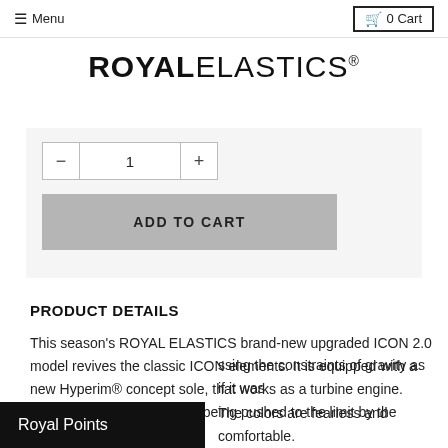Menu | 0 Cart
ROYAL ELASTICS®
[Figure (screenshot): Quantity selector with minus button, quantity field showing 1, and plus button; followed by an ADD TO CART button]
PRODUCT DETAILS
This season's ROYAL ELASTICS brand-new upgraded ICON 2.0 model revives the classic ICON elements. It is equipped with a new Hyperim® concept sole, that works as a turbine engine. Simulating the tire steel rim being pushed to the limit by the [Royal Points overlay] ssing the constraints of gravity as if it was [t...] The colors are fearless and comfortable.
Royal Points